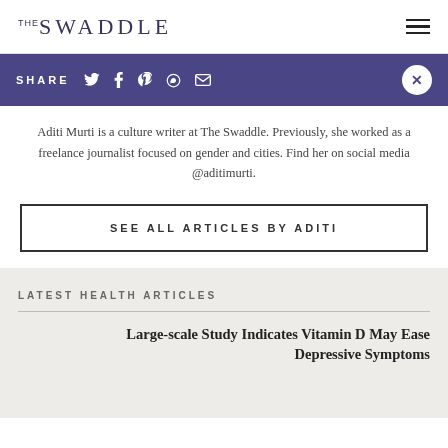THE SWADDLE
SHARE
Aditi Murti is a culture writer at The Swaddle. Previously, she worked as a freelance journalist focused on gender and cities. Find her on social media @aditimurti.
SEE ALL ARTICLES BY ADITI
LATEST HEALTH ARTICLES
Large-scale Study Indicates Vitamin D May Ease Depressive Symptoms